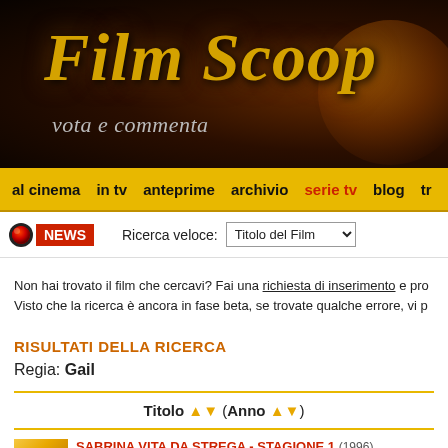[Figure (logo): Film Scoop website header banner with gold italic text 'Film Scoop', subtitle 'vota e commenta', dark cinematic background with globe graphic]
al cinema  in tv  anteprime  archivio  serie tv  blog  tr
NEWS  Ricerca veloce: Titolo del Film
Non hai trovato il film che cercavi? Fai una richiesta di inserimento e pro Visto che la ricerca è ancora in fase beta, se trovate qualche errore, vi p
RISULTATI DELLA RICERCA
Regia: Gail
| Titolo (Anno) |
| --- |
| SABRINA VITA DA STREGA - STAGIONE 1 (1996) |
SABRINA VITA DA STREGA - STAGIONE 1 (1996)